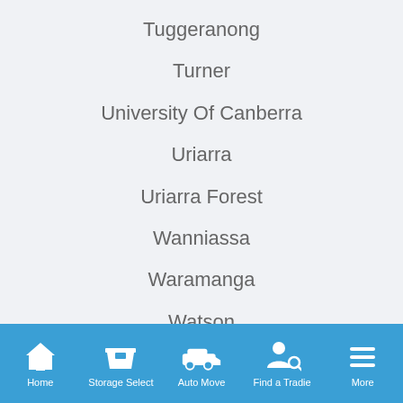Tuggeranong
Turner
University Of Canberra
Uriarra
Uriarra Forest
Wanniassa
Waramanga
Watson
Weetangera
Weston
Weston Creek
Home | Storage Select | Auto Move | Find a Tradie | More